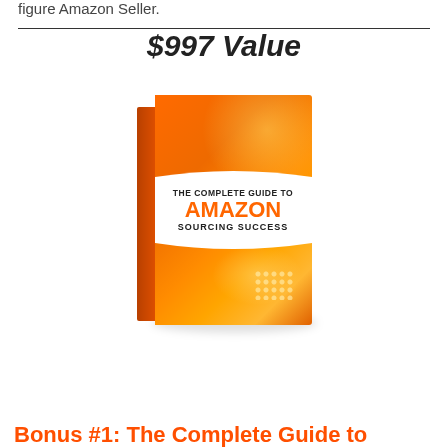figure Amazon Seller.
$997 Value
[Figure (illustration): Book cover: 'The Complete Guide to Amazon Sourcing Success' with orange gradient design]
Bonus #1: The Complete Guide to